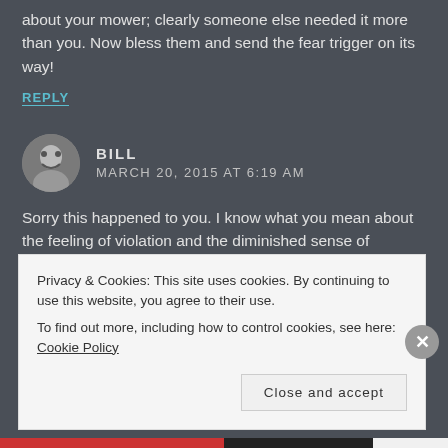about your mower; clearly someone else needed it more than you. Now bless them and send the fear trigger on its way!
REPLY
BILL
MARCH 20, 2015 AT 6:19 AM
Sorry this happened to you. I know what you mean about the feeling of violation and the diminished sense of security. It stinks.
REPLY
Privacy & Cookies: This site uses cookies. By continuing to use this website, you agree to their use.
To find out more, including how to control cookies, see here: Cookie Policy
Close and accept